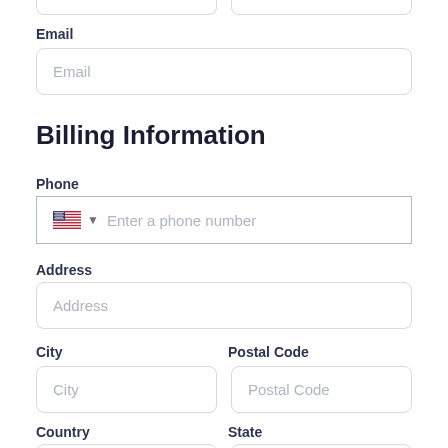[Figure (screenshot): Two partial input boxes cut off at top of page]
Email
[Figure (screenshot): Email input field with placeholder text 'Email']
Billing Information
Phone
[Figure (screenshot): Phone input field with US flag and dropdown arrow, placeholder 'Enter a phone number']
Address
[Figure (screenshot): Address input field with placeholder text 'Address']
City
Postal Code
[Figure (screenshot): City input field with placeholder 'City' and Postal Code input field with placeholder 'Postal Code', side by side]
Country
State
[Figure (screenshot): Select Country dropdown and Select Region dropdown, side by side, partially cut at bottom]